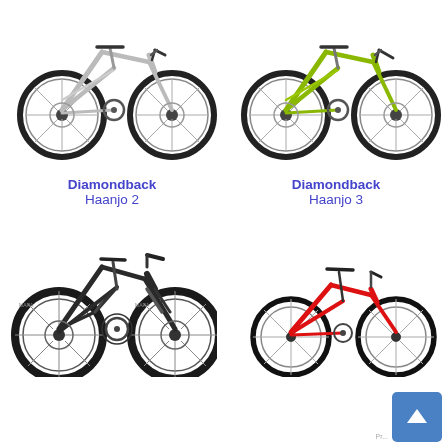[Figure (photo): Diamondback Haanjo 2 road/gravel bike in silver/gray color, side view facing right]
[Figure (photo): Diamondback Haanjo 3 road/gravel bike in yellow-green color, side view facing right]
Diamondback
Haanjo 2
Diamondback
Haanjo 3
[Figure (photo): Dark gray full-suspension mountain bike, side view facing right]
[Figure (photo): Red children's bicycle, side view facing right, partially cut off at bottom]